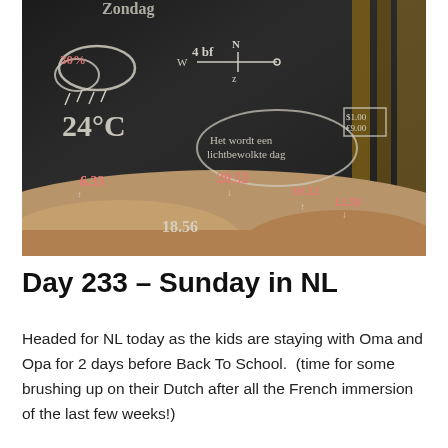[Figure (photo): A chalkboard sign at a beach showing Dutch weather information: temperature 24°C, wind 4 bf W, 30% chance of rain, times 6.33 and 20.52, and other weather details. The board is sitting in sand.]
Day 233 – Sunday in NL
Headed for NL today as the kids are staying with Oma and Opa for 2 days before Back To School.  (time for some brushing up on their Dutch after all the French immersion of the last few weeks!)